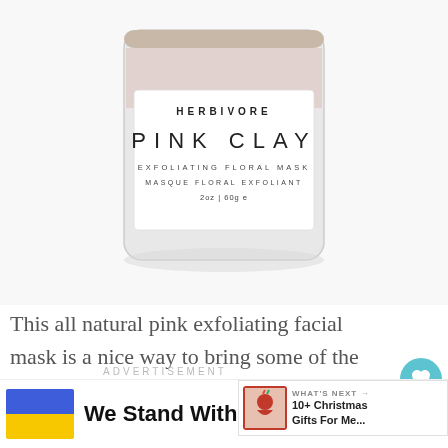[Figure (photo): Herbivore Pink Clay Exfoliating Floral Mask product jar, glass container with white label showing brand and product name, partially cropped at top]
This all natural pink exfoliating facial mask is a nice way to bring some of the spa treatment home. Check it out here.
ADVERTISEMENT
We Stand With You